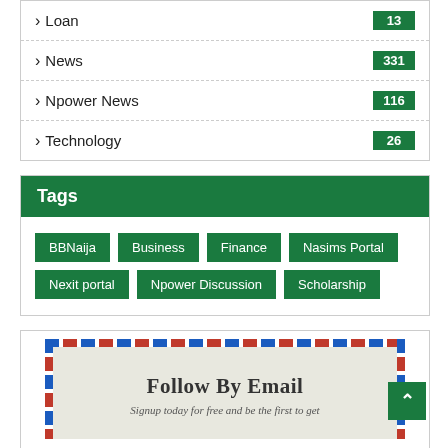Loan 13
News 331
Npower News 116
Technology 26
Tags
BBNaija
Business
Finance
Nasims Portal
Nexit portal
Npower Discussion
Scholarship
[Figure (infographic): Follow By Email signup banner with airmail-style border and text: Follow By Email. Signup today for free and be the first to get]